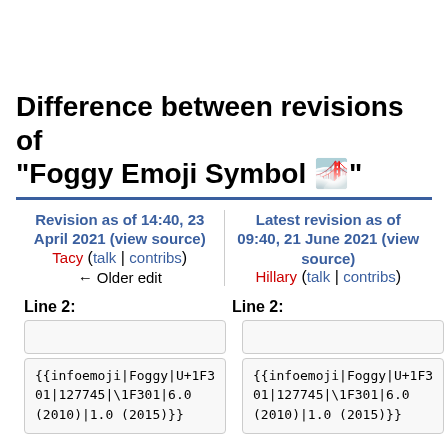Difference between revisions of "Foggy Emoji Symbol 🌁"
Revision as of 14:40, 23 April 2021 (view source)
Tacy (talk | contribs)
← Older edit
Latest revision as of 09:40, 21 June 2021 (view source)
Hillary (talk | contribs)
Line 2:
Line 2:
{{infoemoji|Foggy|U+1F301|127745|\1F301|6.0 (2010)|1.0 (2015)}}
{{infoemoji|Foggy|U+1F301|127745|\1F301|6.0 (2010)|1.0 (2015)}}